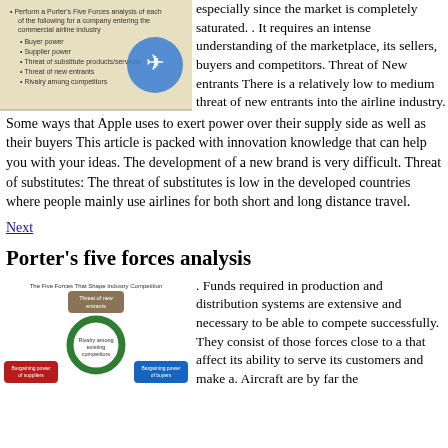[Figure (illustration): Slide showing Porter's Five Forces analysis for airline industry with a blue aircraft icon on a tan background. Lists: Buyer power, Supplier power, Threat of substitute products/services, Threat of new entrants, Rivalry among competitors.]
especially since the market is completely saturated. . It requires an intense understanding of the marketplace, its sellers, buyers and competitors. Threat of New entrants There is a relatively low to medium threat of new entrants into the airline industry. Some ways that Apple uses to exert power over their supply side as well as their buyers This article is packed with innovation knowledge that can help you with your ideas. The development of a new brand is very difficult. Threat of substitutes: The threat of substitutes is low in the developed countries where people mainly use airlines for both short and long distance travel.
Next
Porter's five forces analysis
[Figure (illustration): Diagram titled 'The Five Forces That Shape Industry Competition' showing a circular Porter's Five Forces diagram with: Threat of new entrants (top), Bargaining power of suppliers (left), Rivalry among existing competitors (center), Bargaining power of buyers (right).]
. Funds required in production and distribution systems are extensive and necessary to be able to compete successfully. They consist of those forces close to a that affect its ability to serve its customers and make a. Aircraft are by far the